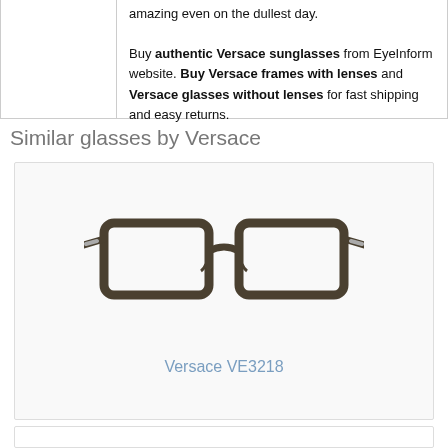Versace styles will make everyone look amazing even on the dullest day. Buy authentic Versace sunglasses from EyeInform website. Buy Versace frames with lenses and Versace glasses without lenses for fast shipping and easy returns.
Similar glasses by Versace
[Figure (photo): Versace VE3218 eyeglasses — dark olive/brown rectangular frame with metal accent temples, shown on white background]
Versace VE3218